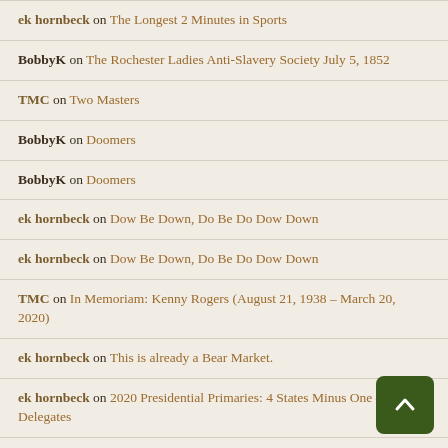ek hornbeck on The Longest 2 Minutes in Sports
BobbyK on The Rochester Ladies Anti-Slavery Society July 5, 1852
TMC on Two Masters
BobbyK on Doomers
BobbyK on Doomers
ek hornbeck on Dow Be Down, Do Be Do Dow Down
ek hornbeck on Dow Be Down, Do Be Do Dow Down
TMC on In Memoriam: Kenny Rogers (August 21, 1938 – March 20, 2020)
ek hornbeck on This is already a Bear Market.
ek hornbeck on 2020 Presidential Primaries: 4 States Minus One – 441 Delegates
TMC on 2020 Presidential Primaries: 4 States Minus One – Delegates